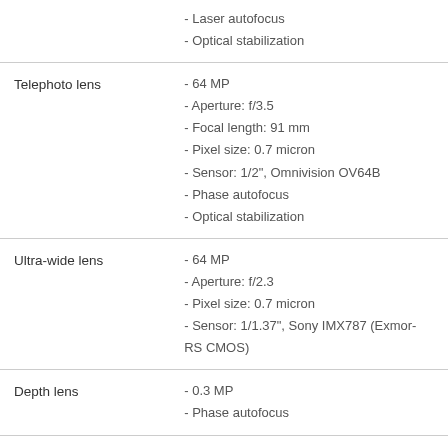|  | - Laser autofocus
- Optical stabilization |
| Telephoto lens | - 64 MP
- Aperture: f/3.5
- Focal length: 91 mm
- Pixel size: 0.7 micron
- Sensor: 1/2", Omnivision OV64B
- Phase autofocus
- Optical stabilization |
| Ultra-wide lens | - 64 MP
- Aperture: f/2.3
- Pixel size: 0.7 micron
- Sensor: 1/1.37", Sony IMX787 (Exmor-RS CMOS) |
| Depth lens | - 0.3 MP
- Phase autofocus |
|  | - Bokeh mode |